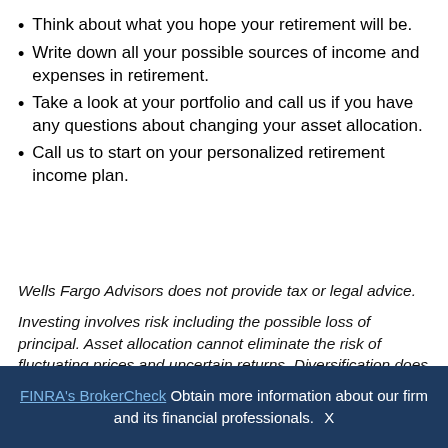Think about what you hope your retirement will be.
Write down all your possible sources of income and expenses in retirement.
Take a look at your portfolio and call us if you have any questions about changing your asset allocation.
Call us to start on your personalized retirement income plan.
Wells Fargo Advisors does not provide tax or legal advice.
Investing involves risk including the possible loss of principal. Asset allocation cannot eliminate the risk of fluctuating prices and uncertain returns. Diversification does not guarantee profit or protect against loss in declining markets. Stocks offer long-term growth potential, but may fluctuate more and provide less current income than other investments. An investment in the stock market should be made with an understanding of the
FINRA's BrokerCheck Obtain more information about our firm and its financial professionals. X